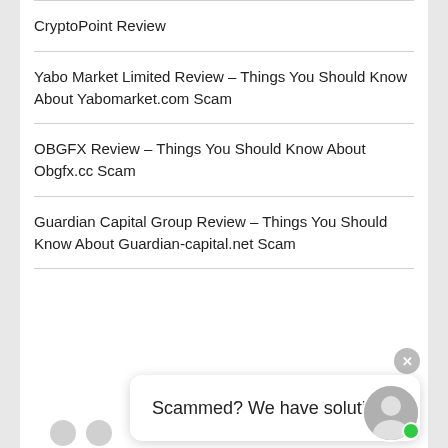CryptoPoint Review
Yabo Market Limited Review – Things You Should Know About Yabomarket.com Scam
OBGFX Review – Things You Should Know About Obgfx.cc Scam
Guardian Capital Group Review – Things You Should Know About Guardian-capital.net Scam
Scammed? We have solution!